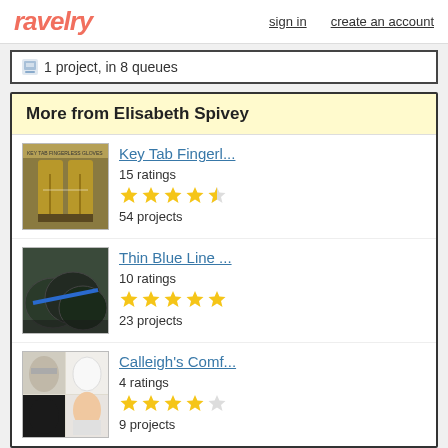ravelry  sign in  create an account
1 project, in 8 queues
More from Elisabeth Spivey
Key Tab Fingerl...
15 ratings
54 projects
Thin Blue Line ...
10 ratings
23 projects
Calleigh's Comf...
4 ratings
9 projects